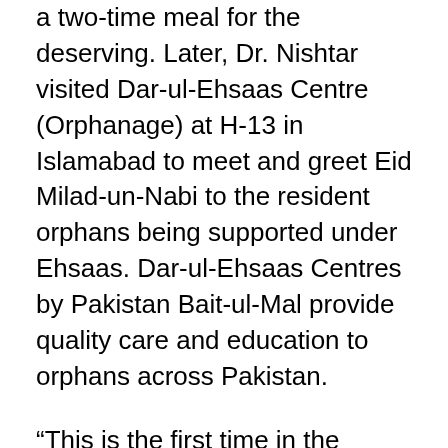a two-time meal for the deserving. Later, Dr. Nishtar visited Dar-ul-Ehsaas Centre (Orphanage) at H-13 in Islamabad to meet and greet Eid Milad-un-Nabi to the resident orphans being supported under Ehsaas. Dar-ul-Ehsaas Centres by Pakistan Bait-ul-Mal provide quality care and education to orphans across Pakistan.
“This is the first time in the history of the country that Ehsaas Orphans and Orphanges’ Committee has developed basic operating standards to ensure quality care and service at all orphanages in the country. These standards are in their last stages of finalization and will be implemented soon nationwide”, said Dr. Nishtar. She also